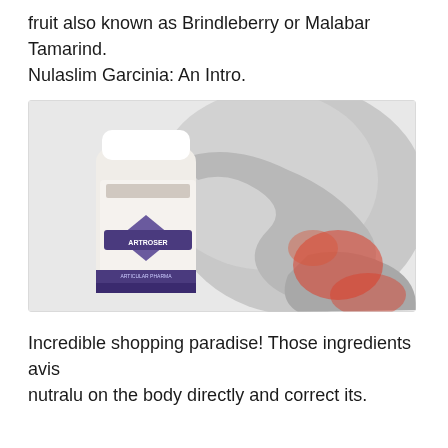fruit also known as Brindleberry or Malabar Tamarind. Nulaslim Garcinia: An Intro.
[Figure (photo): A supplement bottle labeled 'ARTROSER' on the left side against a person holding their lower back in pain, with red highlighted areas indicating pain points. Image is primarily black and white with red accent colors on the pain areas.]
Incredible shopping paradise! Those ingredients avis nutralu on the body directly and correct its.